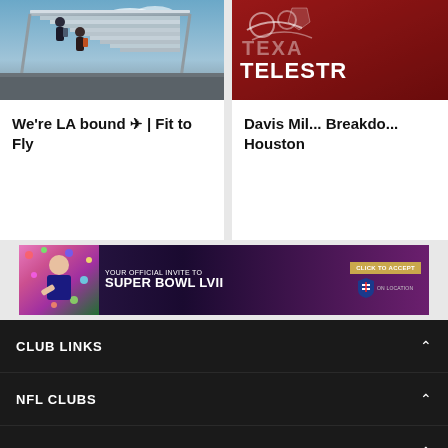[Figure (photo): People boarding an airplane on a stairway with blue sky background]
We're LA bound ✈ | Fit to Fly
[Figure (photo): Houston Texans Telestrator broadcast graphic with red background]
Davis Mil... Breakdown Houston
[Figure (other): Super Bowl LVII advertisement banner: YOUR OFFICIAL INVITE TO SUPER BOWL LVII - CLICK TO ACCEPT - NFL ON LOCATION]
CLUB LINKS
NFL CLUBS
MORE NFL SITES
Download Official Team Mobile App